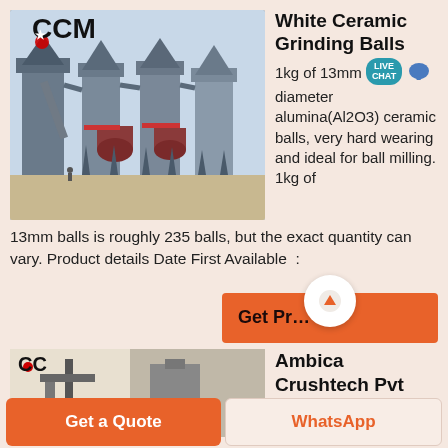[Figure (photo): Industrial ball mill machinery with CCM logo, large cylindrical structures and dust collectors in an outdoor facility]
White Ceramic Grinding Balls
1kg of 13mm diameter alumina(Al2O3) ceramic balls, very hard wearing and ideal for ball milling. 1kg of 13mm balls is roughly 235 balls, but the exact quantity can vary. Product details Date First Available :
[Figure (photo): Industrial crushing/milling equipment with CCM logo, showing mechanical arms and conveyor structures]
Ambica Crushtech Pvt